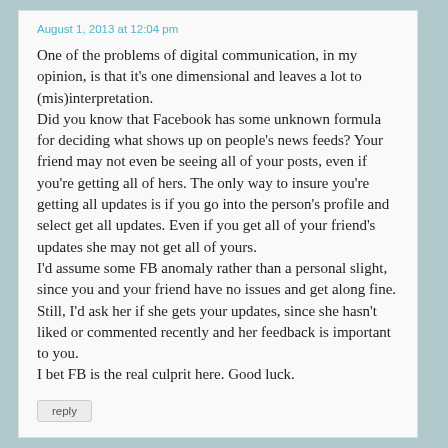August 1, 2013 at 12:04 pm
One of the problems of digital communication, in my opinion, is that it's one dimensional and leaves a lot to (mis)interpretation.
Did you know that Facebook has some unknown formula for deciding what shows up on people's news feeds? Your friend may not even be seeing all of your posts, even if you're getting all of hers. The only way to insure you're getting all updates is if you go into the person's profile and select get all updates. Even if you get all of your friend's updates she may not get all of yours.
I'd assume some FB anomaly rather than a personal slight, since you and your friend have no issues and get along fine. Still, I'd ask her if she gets your updates, since she hasn't liked or commented recently and her feedback is important to you.
I bet FB is the real culprit here. Good luck.
reply